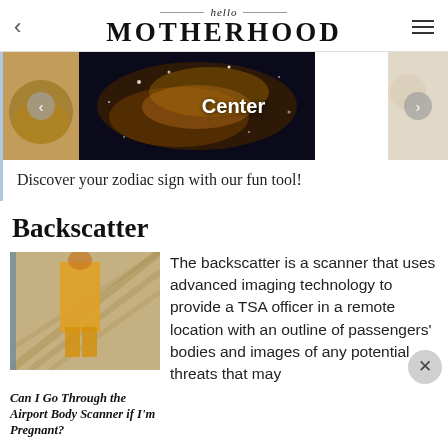hello MOTHERHOOD
[Figure (screenshot): Carousel with space/nebula center image labeled 'Center', flanked by partial images on left and right]
Discover your zodiac sign with our fun tool!
Backscatter
[Figure (photo): Person in yellow on escalator at airport]
Can I Go Through the Airport Body Scanner if I'm Pregnant?
The backscatter is a scanner that uses advanced imaging technology to provide a TSA officer in a remote location with an outline of passengers' bodies and images of any potential threats that may